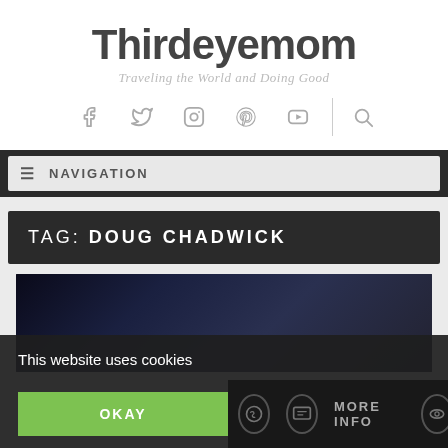Thirdeyemom
Traveling the World and Doing Good
[Figure (other): Social media icon bar with Facebook, Twitter, Instagram, Pinterest, YouTube icons and a search icon separated by a vertical divider]
NAVIGATION
TAG: DOUG CHADWICK
[Figure (photo): Dark background photo area, partially visible]
This website uses cookies
OKAY
MORE INFO